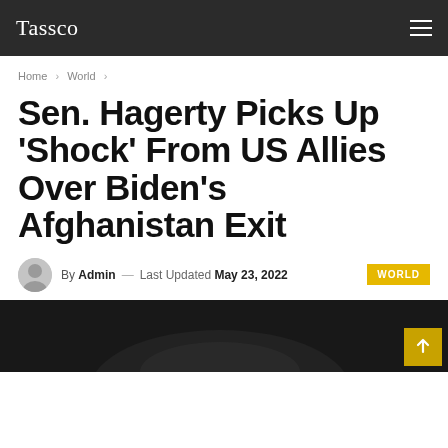Tassco
Home > World >
Sen. Hagerty Picks Up ‘Shock’ From US Allies Over Biden’s Afghanistan Exit
By Admin — Last Updated May 23, 2022 WORLD
[Figure (photo): Dark photo showing the top of a person's head with dark hair, partially visible at the bottom of the page]